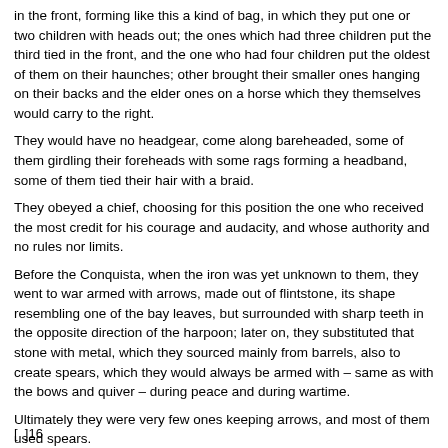in the front, forming like this a kind of bag, in which they put one or two children with heads out; the ones which had three children put the third tied in the front, and the one who had four children put the oldest of them on their haunches; other brought their smaller ones hanging on their backs and the elder ones on a horse which they themselves would carry to the right.
They would have no headgear, come along bareheaded, some of them girdling their foreheads with some rags forming a headband, some of them tied their hair with a braid.
They obeyed a chief, choosing for this position the one who received the most credit for his courage and audacity, and whose authority and no rules nor limits.
Before the Conquista, when the iron was yet unknown to them, they went to war armed with arrows, made out of flintstone, its shape resembling one of the bay leaves, but surrounded with sharp teeth in the opposite direction of the harpoon; later on, they substituted that stone with metal, which they sourced mainly from barrels, also to create spears, which they would always be armed with – same as with the bows and quiver – during peace and during wartime.
Ultimately they were very few ones keeping arrows, and most of them used spears.
Always bareback on horse, with only a simple rein, without breaks, they were extremely skilled in maneuvering the horse, same counts for their Bolas, which they would never cease to carry along on their hips.
[ ]16